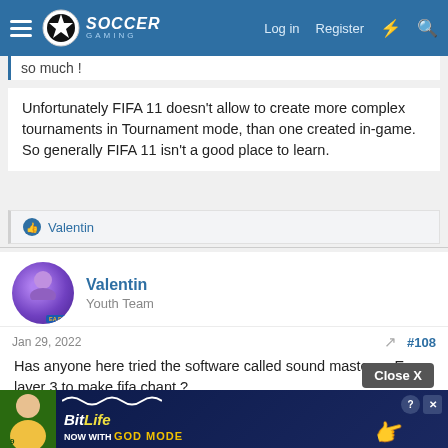Soccer Gaming — Log in | Register
so much !
Unfortunately FIFA 11 doesn't allow to create more complex tournaments in Tournament mode, than one created in-game. So generally FIFA 11 isn't a good place to learn.
👍 Valentin
Valentin
Youth Team
Jan 29, 2022     #108
Has anyone here tried the software called sound master or Ea layer 3 to make fifa chant ?
Last edited: Jan 29, 2022
Close X
[Figure (screenshot): BitLife advertisement banner — 'BitLife NOW WITH GOD MODE' with hand pointing emoji and app icons]